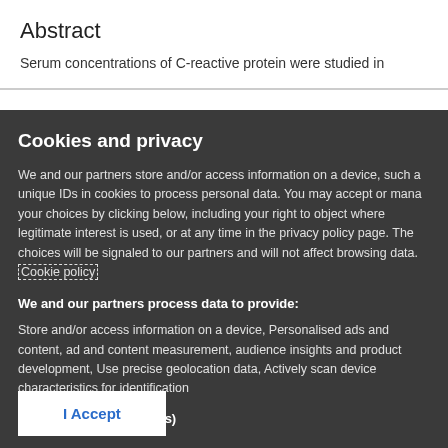Abstract
Serum concentrations of C-reactive protein were studied in
Cookies and privacy
We and our partners store and/or access information on a device, such as unique IDs in cookies to process personal data. You may accept or manage your choices by clicking below, including your right to object where legitimate interest is used, or at any time in the privacy policy page. These choices will be signaled to our partners and will not affect browsing data. Cookie policy
We and our partners process data to provide:
Store and/or access information on a device, Personalised ads and content, ad and content measurement, audience insights and product development, Use precise geolocation data, Actively scan device characteristics for identification
List of Partners (vendors)
I Accept